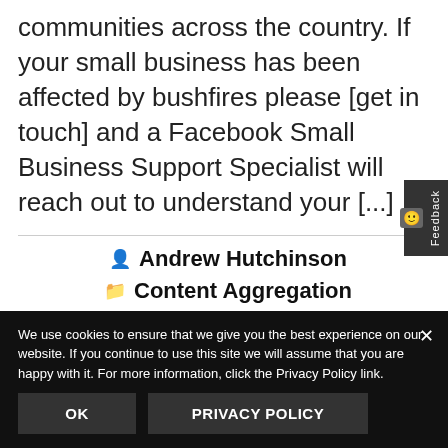communities across the country. If your small business has been affected by bushfires please [get in touch] and a Facebook Small Business Support Specialist will reach out to understand your [...]
Andrew Hutchinson
Content Aggregation
We use cookies to ensure that we give you the best experience on our website. If you continue to use this site we will assume that you are happy with it. For more information, click the Privacy Policy link.